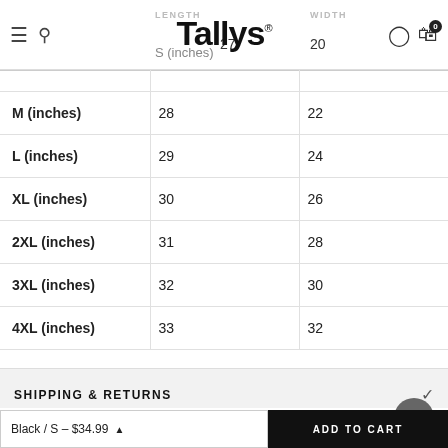Tallys® — navigation header with menu, search, user, cart icons
|  | LENGTH | WIDTH |
| --- | --- | --- |
| S (inches) | 27 | 20 |
| M (inches) | 28 | 22 |
| L (inches) | 29 | 24 |
| XL (inches) | 30 | 26 |
| 2XL (inches) | 31 | 28 |
| 3XL (inches) | 32 | 30 |
| 4XL (inches) | 33 | 32 |
SHIPPING & RETURNS
Reviews
Black / S – $34.99
ADD TO CART